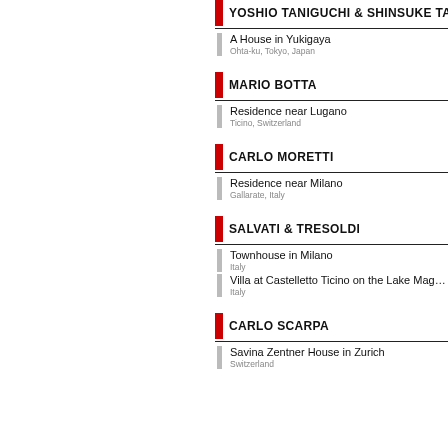YOSHIO TANIGUCHI & SHINSUKE TAK...
A House in Yukigaya
Ohta-ku, Tokyo, Japan
MARIO BOTTA
Residence near Lugano
Ticino, Switzerland
CARLO MORETTI
Residence near Milano
Gallarate, Italy
SALVATI & TRESOLDI
Townhouse in Milano
Italy
Villa at Castelletto Ticino on the Lake Mag...
Italy
CARLO SCARPA
Savina Zentner House in Zurich
Switzerland